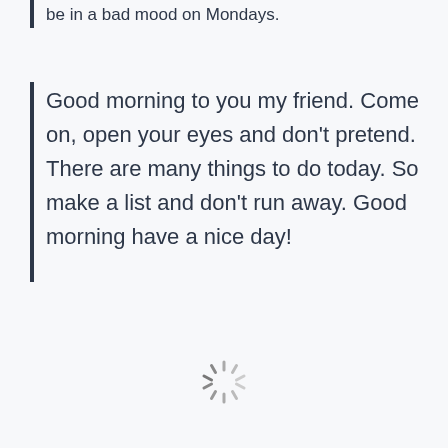be in a bad mood on Mondays.
Good morning to you my friend. Come on, open your eyes and don't pretend. There are many things to do today. So make a list and don't run away. Good morning have a nice day!
[Figure (other): Loading spinner icon centered at the bottom of the page]